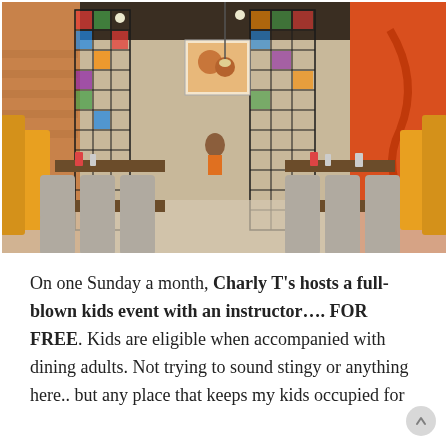[Figure (photo): Interior of Charly T's restaurant showing dining area with grey upholstered chairs, wooden tables, decorative lattice partitions, yellow booth seating on the left, orange accent wall on the right, and pendant lighting. A food poster is visible on the back wall.]
On one Sunday a month, Charly T's hosts a full-blown kids event with an instructor.... FOR FREE. Kids are eligible when accompanied with dining adults. Not trying to sound stingy or anything here.. but any place that keeps my kids occupied for